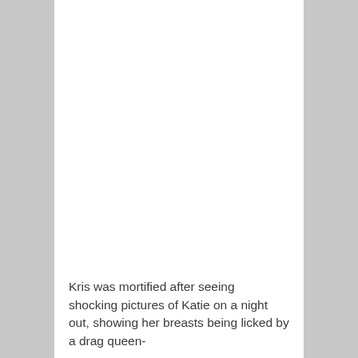Kris was mortified after seeing  shocking pictures of Katie on a night out, showing her breasts being licked by a drag queen-